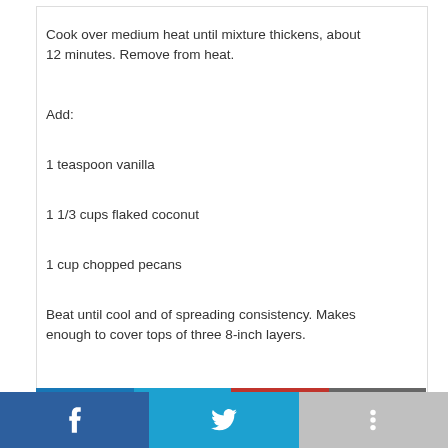Cook over medium heat until mixture thickens, about 12 minutes. Remove from heat.
Add:
1 teaspoon vanilla
1 1/3 cups flaked coconut
1 cup chopped pecans
Beat until cool and of spreading consistency. Makes enough to cover tops of three 8-inch layers.
Ohio First Lady Fran DeWine is a Cedarville resident, Yellow